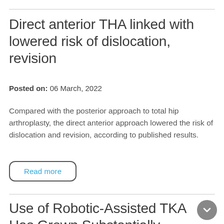Direct anterior THA linked with lowered risk of dislocation, revision
Posted on: 06 March, 2022
Compared with the posterior approach to total hip arthroplasty, the direct anterior approach lowered the risk of dislocation and revision, according to published results.
Read more
Use of Robotic-Assisted TKA Has Grown Substantially, Study Finds